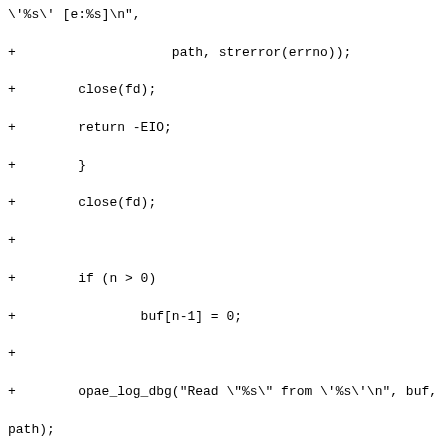Code diff showing C source code with additions to a file, including error handling with close(fd), return -EIO, opae_log_dbg, and a new function opae_get_proc_type(void) with process type detection logic.